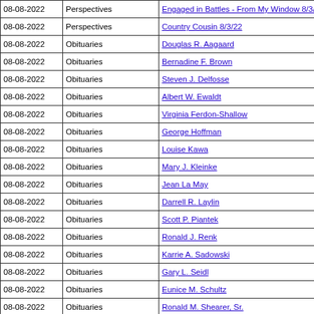| Date | Section | Title |
| --- | --- | --- |
| 08-08-2022 | Perspectives | Engaged in Battles - From My Window 8/3/22 |
| 08-08-2022 | Perspectives | Country Cousin 8/3/22 |
| 08-08-2022 | Obituaries | Douglas R. Aagaard |
| 08-08-2022 | Obituaries | Bernadine F. Brown |
| 08-08-2022 | Obituaries | Steven J. Delfosse |
| 08-08-2022 | Obituaries | Albert W. Ewaldt |
| 08-08-2022 | Obituaries | Virginia Ferdon-Shallow |
| 08-08-2022 | Obituaries | George Hoffman |
| 08-08-2022 | Obituaries | Louise Kawa |
| 08-08-2022 | Obituaries | Mary J. Kleinke |
| 08-08-2022 | Obituaries | Jean La May |
| 08-08-2022 | Obituaries | Darrell R. Laylin |
| 08-08-2022 | Obituaries | Scott P. Piantek |
| 08-08-2022 | Obituaries | Ronald J. Renk |
| 08-08-2022 | Obituaries | Karrie A. Sadowski |
| 08-08-2022 | Obituaries | Gary L. Seidl |
| 08-08-2022 | Obituaries | Eunice M. Schultz |
| 08-08-2022 | Obituaries | Ronald M. Shearer, Sr. |
| 08-08-2022 | Obituaries | Sandra L. Mayou |
| 08-08-2022 | Obituaries | Martin G. Wellner |
| 08-08-2022 | Community - Coleman | Pantry Continues Food Distribution Procedures |